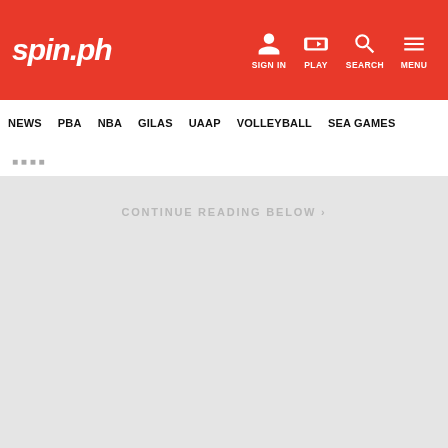spin.ph | SIGN IN | PLAY | SEARCH | MENU
NEWS | PBA | NBA | GILAS | UAAP | VOLLEYBALL | SEA GAMES
CONTINUE READING BELOW